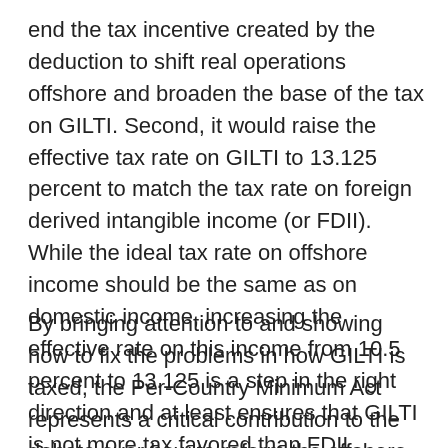end the tax incentive created by the deduction to shift real operations offshore and broaden the base of the tax on GILTI. Second, it would raise the effective tax rate on GILTI to 13.125 percent to match the tax rate on foreign derived intangible income (or FDII). While the ideal tax rate on offshore income should be the same as on domestic income, increasing the effective rate on this income from 10.5 percent to 13.125 is a step in the right direction and at least ensures that GILTI is not more tax favored than FDII.
By bringing attention to and showing how to fix the problems in how GILTI is taxed, the Per-Country Minimum Act represents a critical contribution to the debate over how to reform the offshore tax system. Any future tax reform legislation would be incomplete if it did not include this bill's